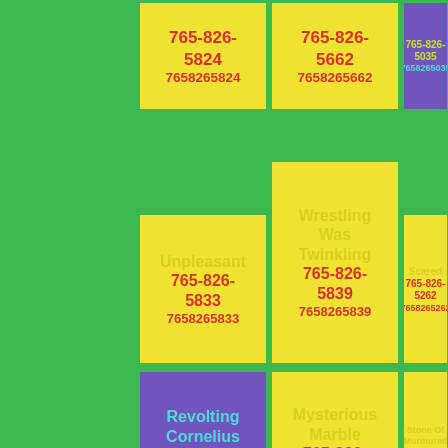765-826-5824 / 7658265824
765-826-5662 / 7658265662
765-826-5035 / 7658265035
Unpleasant 765-826-5833 / 7658265833
Wrestling Was Twinkling 765-826-5839 / 7658265839
Scared 765-826-5262 / 7658265262
Revolting Cornelius Stood 765-826-5076 / 7658265076
Mysterious Marble 765-826-5289 / 7658265289
Stone Of Murmured 765-826-5507 / 7658265507
Split Somefink 765-826-5405
Doubted Silently 765-826-5540
Romania 765-826-5765